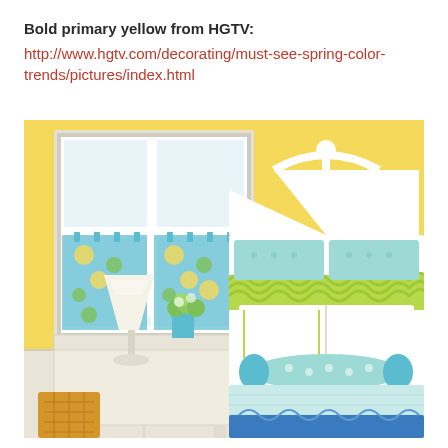Bold primary yellow from HGTV: http://www.hgtv.com/decorating/must-see-spring-color-trends/pictures/index.html
[Figure (photo): A bright bedroom with bold yellow walls, a white decorative headboard, light blue/mint bedding with green ruffle accents, a white nightstand with a white lamp and green hydrangeas, blue and yellow floral cafe curtains on a white-framed window, and a mustard yellow ottoman in the foreground. A blue bench is visible at the foot of the bed.]